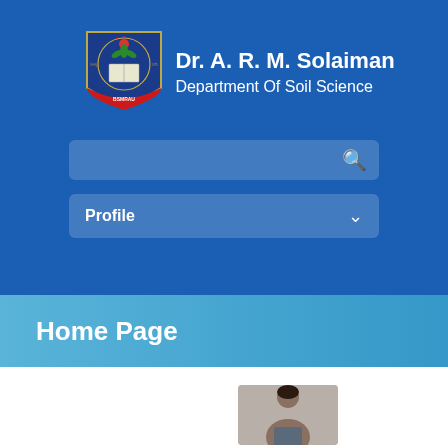[Figure (logo): BSMRAU university crest/shield logo with leaves, sun, book motif and red ribbon at bottom with text BSMRAU]
Dr. A. R. M. Solaiman
Department Of Soil Science
Profile
Home Page
[Figure (photo): Profile photo of Dr. A.R.M. Solaiman, partial view showing head and shoulders]
Dr. A.R.M. Solaiman